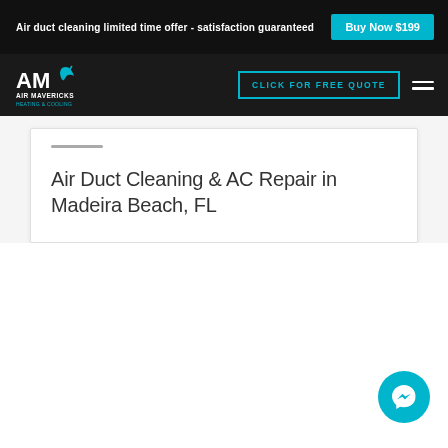Air duct cleaning limited time offer - satisfaction guaranteed | Buy Now $199
[Figure (logo): Air Mavericks Heating & Cooling logo with AM letters and leaf icon]
CLICK FOR FREE QUOTE
Air Duct Cleaning & AC Repair in Madeira Beach, FL